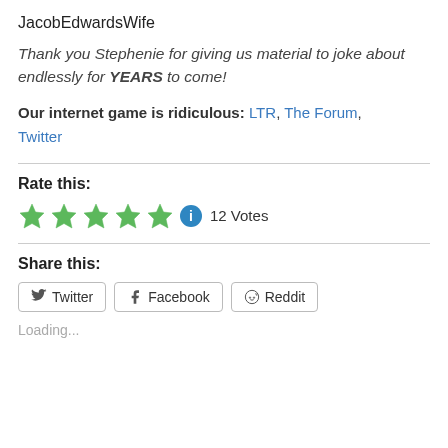JacobEdwardsWife
Thank you Stephenie for giving us material to joke about endlessly for YEARS to come!
Our internet game is ridiculous: LTR, The Forum, Twitter
Rate this:
[Figure (other): Five green stars rating with info icon and '12 Votes' label]
Share this:
[Figure (other): Share buttons: Twitter, Facebook, Reddit]
Loading...